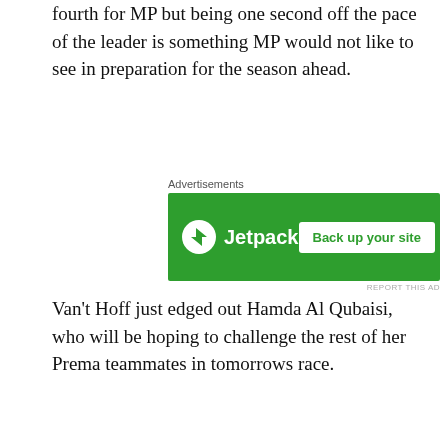fourth for MP but being one second off the pace of the leader is something MP would not like to see in preparation for the season ahead.
[Figure (screenshot): Jetpack advertisement banner with green background showing Jetpack logo and 'Back up your site' button]
Van't Hoff just edged out Hamda Al Qubaisi, who will be hoping to challenge the rest of her Prema teammates in tomorrows race.
Rik Koen in the second MP car qualified in sixth, with Vladislav Ryabov in seventh. Then came the two Xcel cars of Aiden Neate and Jamie Day in eighth and ninth respectively. With Miron Pingasov rounding out the grid in tenth.
Header Photo: Joan Codina